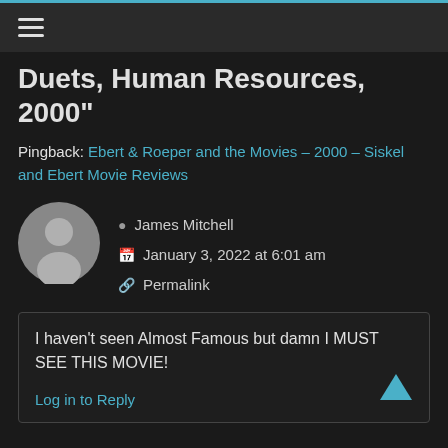≡
Duets, Human Resources, 2000"
Pingback: Ebert & Roeper and the Movies – 2000 – Siskel and Ebert Movie Reviews
[Figure (illustration): Default grey avatar placeholder showing a person silhouette in a circle]
James Mitchell
January 3, 2022 at 6:01 am
Permalink
I haven't seen Almost Famous but damn I MUST SEE THIS MOVIE!
Log in to Reply